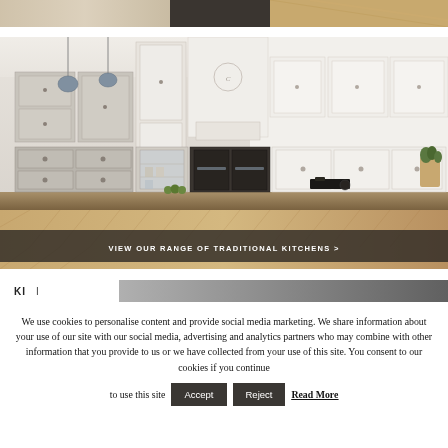[Figure (photo): Partial top strip of a kitchen or interior scene — cropped top image showing light wood and dark surfaces]
[Figure (photo): Traditional kitchen with grey and white cabinetry, pendant lights, wood countertop, double oven, and decorative clock above range hood]
VIEW OUR RANGE OF TRADITIONAL KITCHENS >
We use cookies to personalise content and provide social media marketing. We share information about your use of our site with our social media, advertising and analytics partners who may combine with other information that you provide to us or we have collected from your use of this site. You consent to our cookies if you continue to use this site
Accept
Reject
Read More